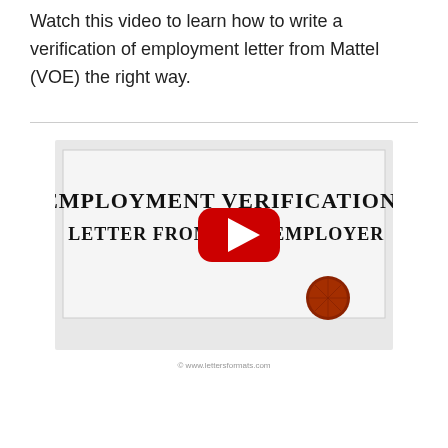Watch this video to learn how to write a verification of employment letter from Mattel (VOE) the right way.
[Figure (screenshot): YouTube video thumbnail showing 'EMPLOYMENT VERIFICATION LETTER FROM [YouTube play button] US EMPLOYER' with a red wax seal, watermarked with www.lettersformats.com]